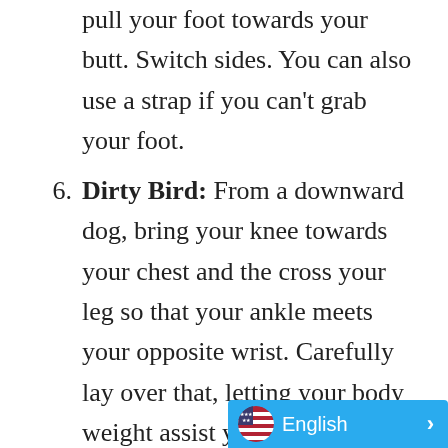grab one foot with the same side hand and pull your foot towards your butt. Switch sides. You can also use a strap if you can't grab your foot.
Dirty Bird: From a downward dog, bring your knee towards your chest and the cross your leg so that your ankle meets your opposite wrist. Carefully lay over that, letting your body weight assist your stretch. To modify, lay on your back for figure 4. Bring one ankle to the opposite knee and use your arms to pull your legs close to your body.